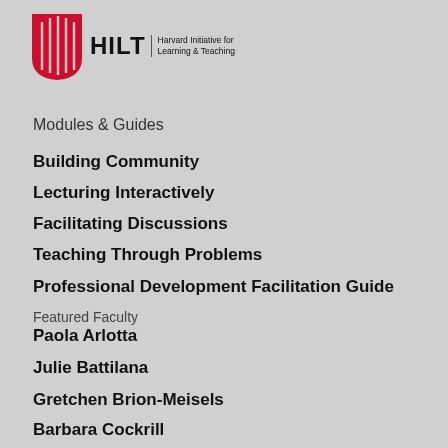[Figure (logo): HILT - Harvard Initiative for Learning & Teaching logo with red shield icon and bold HILT wordmark]
Modules & Guides
Building Community
Lecturing Interactively
Facilitating Discussions
Teaching Through Problems
Professional Development Facilitation Guide
Featured Faculty
Paola Arlotta
Julie Battilana
Gretchen Brion-Meisels
Barbara Cockrill
Brett Flehinger